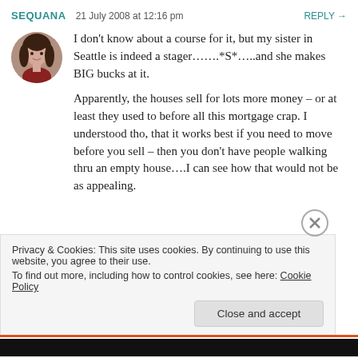SEQUANA   21 July 2008 at 12:16 pm   REPLY →
I don't know about a course for it, but my sister in Seattle is indeed a stager…….*S*…..and she makes BIG bucks at it.

Apparently, the houses sell for lots more money – or at least they used to before all this mortgage crap. I understood tho, that it works best if you need to move before you sell – then you don't have people walking thru an empty house….I can see how that would not be as appealing.
Privacy & Cookies: This site uses cookies. By continuing to use this website, you agree to their use.
To find out more, including how to control cookies, see here: Cookie Policy
Close and accept